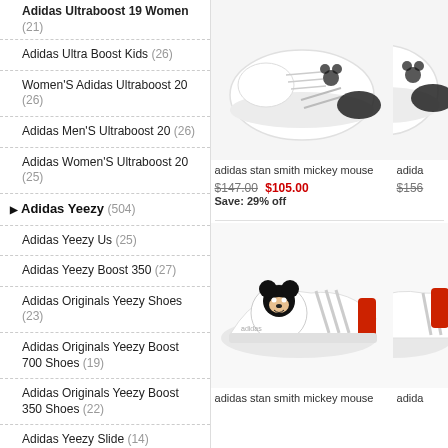Adidas Ultraboost 19 Women (21)
Adidas Ultra Boost Kids (26)
Women'S Adidas Ultraboost 20 (26)
Adidas Men'S Ultraboost 20 (26)
Adidas Women'S Ultraboost 20 (25)
Adidas Yeezy (504)
Adidas Yeezy Us (25)
Adidas Yeezy Boost 350 (27)
Adidas Originals Yeezy Shoes (23)
Adidas Originals Yeezy Boost 700 Shoes (19)
Adidas Originals Yeezy Boost 350 Shoes (22)
Adidas Yeezy Slide (14)
Adidas Yeezy Slides (13)
Adidas Yeezy Boost 350 V2 (24)
Adidas Yeezy Boost 350 V2 Zyon (12)
[Figure (photo): Adidas stan smith mickey mouse shoe - white with black details, top view]
adidas stan smith mickey mouse
[Figure (photo): Adidas shoe partially visible on the right edge]
adida
$147.00  $105.00  Save: 29% off
$156
[Figure (photo): Adidas stan smith mickey mouse shoe - white with red heel tab and mickey mouse illustration, side view]
adidas stan smith mickey mouse
[Figure (photo): Adidas shoe partially visible on the right edge]
adida